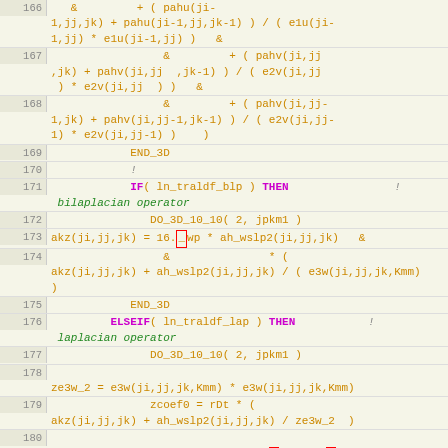[Figure (screenshot): Source code listing lines 166-184 of a Fortran/scientific computing program showing ocean model diffusion operator code with syntax highlighting. Purple keywords (IF, THEN, ELSEIF, ELSE, ENDIF, DO_3D_10_10, END_3D), orange function calls and operators, green italic comments, line numbers in left margin.]